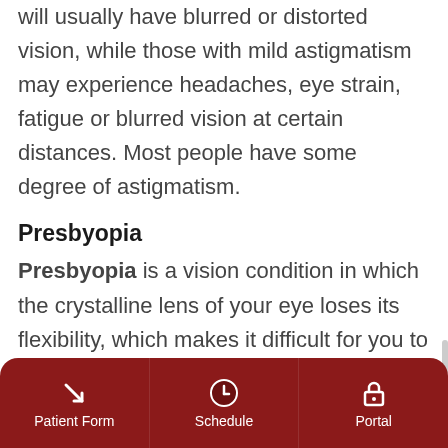will usually have blurred or distorted vision, while those with mild astigmatism may experience headaches, eye strain, fatigue or blurred vision at certain distances. Most people have some degree of astigmatism.
Presbyopia
Presbyopia is a vision condition in which the crystalline lens of your eye loses its flexibility, which makes it difficult for you to focus on close objects. Presbyopia may seem to occur suddenly, but the actual loss of flexibility takes place over a number of
Patient Form | Schedule | Portal